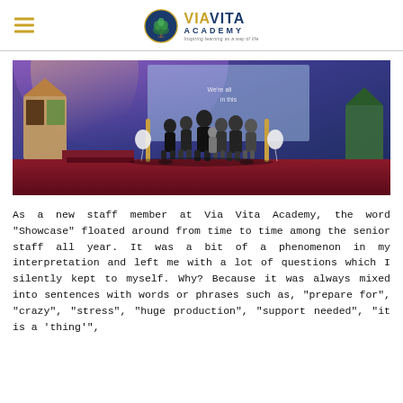VIA VITA ACADEMY — Inspiring learning as a way of life
[Figure (photo): Group of students and staff on a stage in black clothing, performing at the Via Vita Academy Showcase. Stage has colorful lighting, a projection screen, and decorative set pieces.]
As a new staff member at Via Vita Academy, the word "Showcase" floated around from time to time among the senior staff all year. It was a bit of a phenomenon in my interpretation and left me with a lot of questions which I silently kept to myself. Why? Because it was always mixed into sentences with words or phrases such as, "prepare for", "crazy", "stress", "huge production", "support needed", "it is a 'thing'",